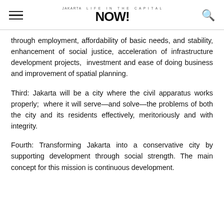Jakarta Now! [logo header with hamburger menu and search icon]
through employment, affordability of basic needs, and stability, enhancement of social justice, acceleration of infrastructure development projects,  investment and ease of doing business and improvement of spatial planning.
Third: Jakarta will be a city where the civil apparatus works properly;  where it will serve—and solve—the problems of both the city and its residents effectively, meritoriously and with integrity.
Fourth: Transforming Jakarta into a conservative city by supporting development through social strength. The main concept for this mission is continuous development.